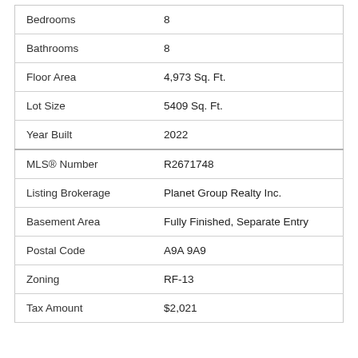| Field | Value |
| --- | --- |
| Bedrooms | 8 |
| Bathrooms | 8 |
| Floor Area | 4,973 Sq. Ft. |
| Lot Size | 5409 Sq. Ft. |
| Year Built | 2022 |
| MLS® Number | R2671748 |
| Listing Brokerage | Planet Group Realty Inc. |
| Basement Area | Fully Finished, Separate Entry |
| Postal Code | A9A 9A9 |
| Zoning | RF-13 |
| Tax Amount | $2,021 |